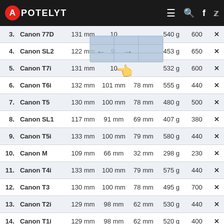APOTELYT — navigation header with hamburger menu, search, Facebook, Twitter icons
| # | Model | Width | Height | Depth | Weight | Shots |  |
| --- | --- | --- | --- | --- | --- | --- | --- |
| 3. | Canon 77D | 131 mm | 10— | — | 540 g | 600 | ✕ |
| 4. | Canon SL2 | 122 mm | 9— | — | 453 g | 650 | ✕ |
| 5. | Canon T7i | 131 mm | 10— | — | 532 g | 600 | ✕ |
| 6. | Canon T6i | 132 mm | 101 mm | 78 mm | 555 g | 440 | ✕ |
| 7. | Canon T5 | 130 mm | 100 mm | 78 mm | 480 g | 500 | ✕ |
| 8. | Canon SL1 | 117 mm | 91 mm | 69 mm | 407 g | 380 | ✕ |
| 9. | Canon T5i | 133 mm | 100 mm | 79 mm | 580 g | 440 | ✕ |
| 10. | Canon M | 109 mm | 66 mm | 32 mm | 298 g | 230 | ✕ |
| 11. | Canon T4i | 133 mm | 100 mm | 79 mm | 575 g | 440 | ✕ |
| 12. | Canon T3 | 130 mm | 100 mm | 78 mm | 495 g | 700 | ✕ |
| 13. | Canon T2i | 129 mm | 98 mm | 62 mm | 530 g | 440 | ✕ |
| 14. | Canon T1i | 129 mm | 98 mm | 62 mm | 520 g | 400 | ✕ |